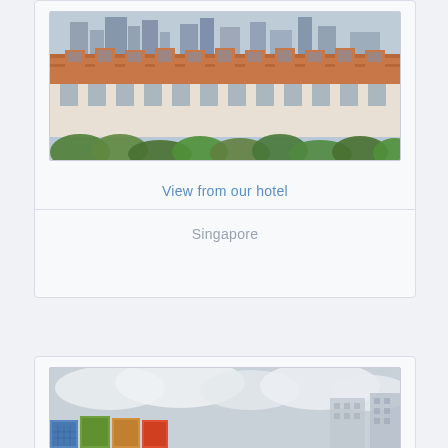[Figure (photo): Aerial view of a colonial-style building with orange/terracotta roof tiles in the foreground and modern Singapore city skyscrapers in the background. Green trees visible at the bottom.]
View from our hotel
Singapore
[Figure (photo): Singapore cityscape showing modern residential apartment blocks with colorful facades under a cloudy sky, with taller buildings in the background.]